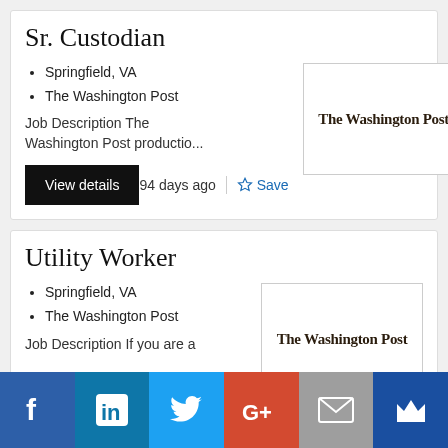Sr. Custodian
Springfield, VA
The Washington Post
Job Description The Washington Post productio...
[Figure (logo): The Washington Post logo in blackletter/old English font style]
View details
94 days ago
Save
Utility Worker
Springfield, VA
The Washington Post
Job Description If you are a
[Figure (logo): The Washington Post logo in blackletter/old English font style]
[Figure (infographic): Social sharing bar with Facebook, LinkedIn, Twitter, Google+, Email, and Crown icons]